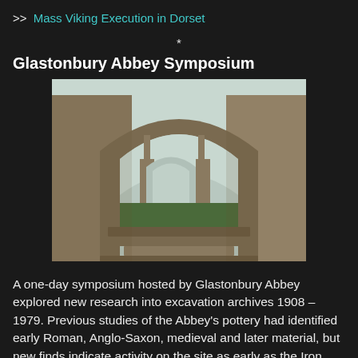>> Mass Viking Execution in Dorset
*
Glastonbury Abbey Symposium
[Figure (photo): Photograph of Glastonbury Abbey ruins showing a large stone Gothic arch with steps leading through it, with further abbey ruins visible in the background and green grass in the foreground.]
A one-day symposium hosted by Glastonbury Abbey explored new research into excavation archives 1908 – 1979. Previous studies of the Abbey's pottery had identified early Roman, Anglo-Saxon, medieval and later material, but new finds indicate activity on the site as early as the Iron Age period which archaeologists had not realised were